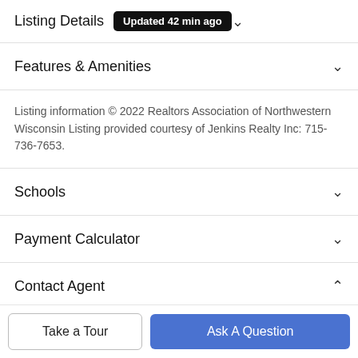Listing Details Updated 42 min ago
Features & Amenities
Listing information © 2022 Realtors Association of Northwestern Wisconsin Listing provided courtesy of Jenkins Realty Inc: 715-736-7653.
Schools
Payment Calculator
Contact Agent
[Figure (photo): Agent profile photo (partial circular avatar)]
Take a Tour
Ask A Question